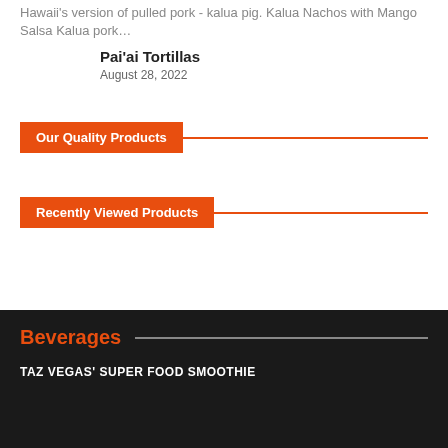Hawaii's version of pulled pork - kalua pig. Kalua Nachos with Mango Salsa Kalua pork…
Pai'ai Tortillas
August 28, 2022
Our Quality Products
Recently Viewed Products
Beverages
TAZ VEGAS' SUPER FOOD SMOOTHIE